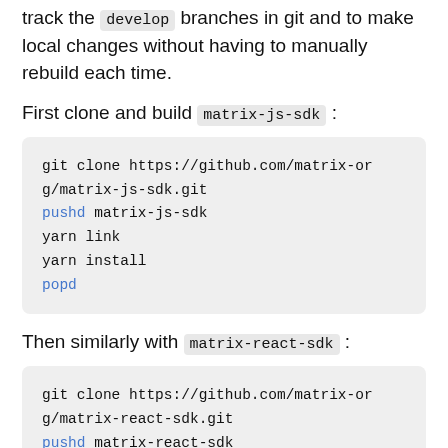track the develop branches in git and to make local changes without having to manually rebuild each time.
First clone and build matrix-js-sdk :
git clone https://github.com/matrix-or
g/matrix-js-sdk.git
pushd matrix-js-sdk
yarn link
yarn install
popd
Then similarly with matrix-react-sdk :
git clone https://github.com/matrix-or
g/matrix-react-sdk.git
pushd matrix-react-sdk
yarn link
yarn link matrix-js-sdk